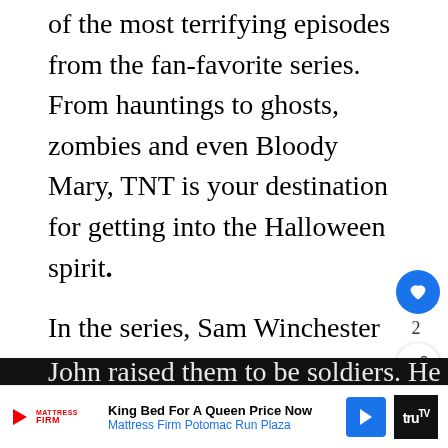of the most terrifying episodes from the fan-favorite series. From hauntings to ghosts, zombies and even Bloody Mary, TNT is your destination for getting into the Halloween spirit.
In the series, Sam Winchester (Jared Padalecki) and Dean Winchester (Jensen Ackles) lost their mother to a mysterious and demonic supernatural force twenty six years ago. Subsequently, their father John raised them to be soldiers. He ta...evil
[Figure (infographic): Social interaction buttons: heart/like button (blue circle with heart icon) with count of 2, and a share button (white circle with share icon)]
[Figure (infographic): Advertisement banner: Mattress Firm ad reading 'King Bed For A Queen Price Now' with 'Mattress Firm Potomac Run Plaza' subtitle, blue navigation arrow button, and TruTV logo on right]